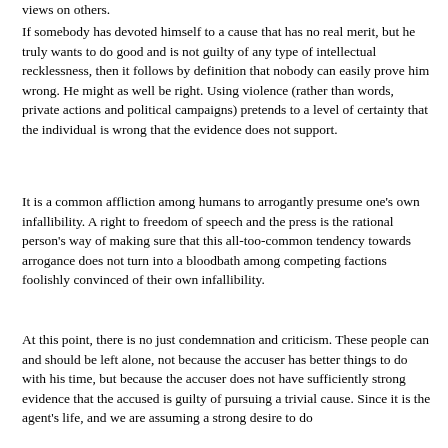views on others.
If somebody has devoted himself to a cause that has no real merit, but he truly wants to do good and is not guilty of any type of intellectual recklessness, then it follows by definition that nobody can easily prove him wrong. He might as well be right. Using violence (rather than words, private actions and political campaigns) pretends to a level of certainty that the individual is wrong that the evidence does not support.
It is a common affliction among humans to arrogantly presume one's own infallibility. A right to freedom of speech and the press is the rational person's way of making sure that this all-too-common tendency towards arrogance does not turn into a bloodbath among competing factions foolishly convinced of their own infallibility.
At this point, there is no just condemnation and criticism. These people can and should be left alone, not because the accuser has better things to do with his time, but because the accuser does not have sufficiently strong evidence that the accused is guilty of pursuing a trivial cause. Since it is the agent's life, and we are assuming a strong desire to do